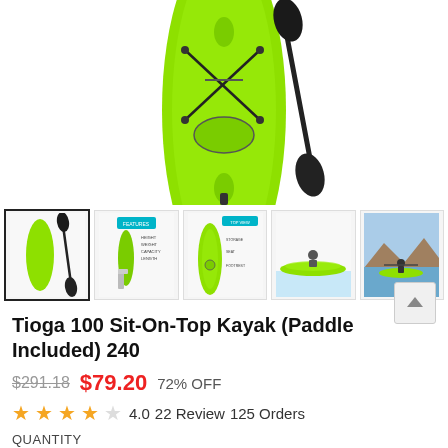[Figure (photo): Top view of a lime green sit-on-top kayak with an X-shaped bungee cord system and a black paddle leaning against it, on white background.]
[Figure (photo): Thumbnail 1: Lime green kayak with black paddle, selected/highlighted with black border.]
[Figure (photo): Thumbnail 2: Infographic showing kayak specs with human figure for scale and teal banner.]
[Figure (photo): Thumbnail 3: Top-down view of the green kayak with feature callouts.]
[Figure (photo): Thumbnail 4: Side profile of the lime green kayak on water with a person.]
[Figure (photo): Thumbnail 5: Photo of a person paddling a green kayak on a lake with mountains in the background.]
Tioga 100 Sit-On-Top Kayak (Paddle Included) 240
$291.18  $79.20  72% OFF
4.0  22 Review  125 Orders
QUANTITY
1